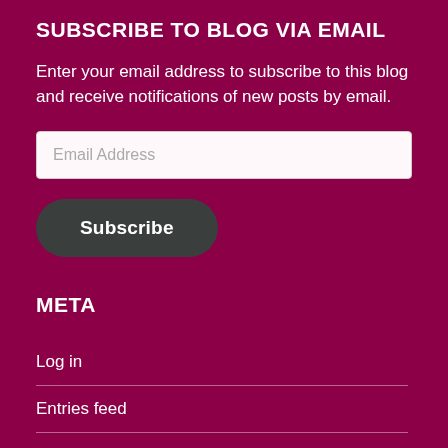SUBSCRIBE TO BLOG VIA EMAIL
Enter your email address to subscribe to this blog and receive notifications of new posts by email.
Email Address
Subscribe
META
Log in
Entries feed
Comments feed
WordPress.org